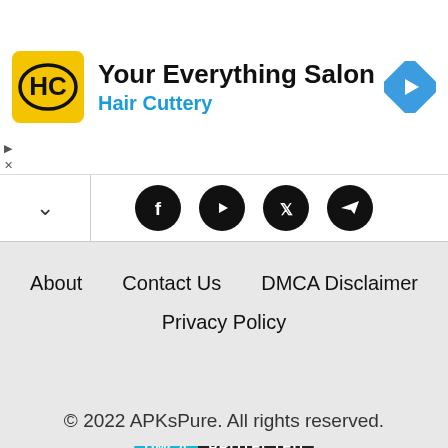[Figure (infographic): Hair Cuttery advertisement banner with yellow HC logo, headline 'Your Everything Salon', subtitle 'Hair Cuttery' in blue, and a blue navigation arrow icon on the right.]
[Figure (infographic): Social media icons row: Facebook, YouTube, Twitter, Telegram — black circular icons on white strip with a chevron-up button on the left.]
About   Contact Us   DMCA Disclaimer
Privacy Policy
© 2022 APKsPure. All rights reserved.
[Figure (logo): DMCA PROTECTED badge — teal left half with 'DMCA' in white, black right half with 'PROTECTED' in white.]